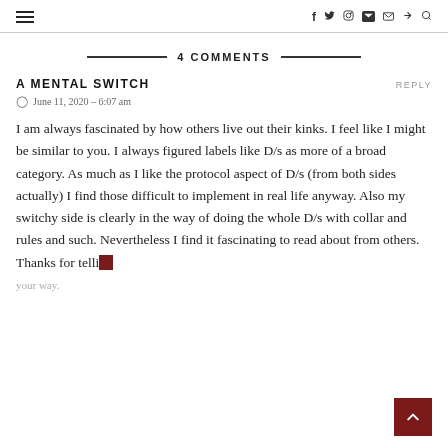≡  f  🐦  📷  ▶  ✉  )))  🔍
4 COMMENTS
A MENTAL SWITCH   REPLY
June 11, 2020 - 6:07 am
I am always fascinated by how others live out their kinks. I feel like I might be similar to you. I always figured labels like D/s as more of a broad category. As much as I like the protocol aspect of D/s (from both sides actually) I find those difficult to implement in real life anyway. Also my switchy side is clearly in the way of doing the whole D/s with collar and rules and such. Nevertheless I find it fascinating to read about from others. Thanks for telling your way.